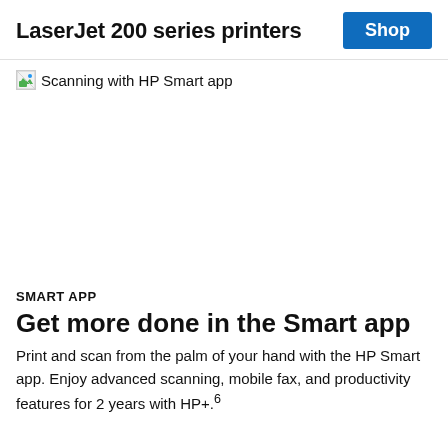LaserJet 200 series printers
[Figure (screenshot): Broken image icon followed by the text 'Scanning with HP Smart app']
SMART APP
Get more done in the Smart app
Print and scan from the palm of your hand with the HP Smart app. Enjoy advanced scanning, mobile fax, and productivity features for 2 years with HP+.6